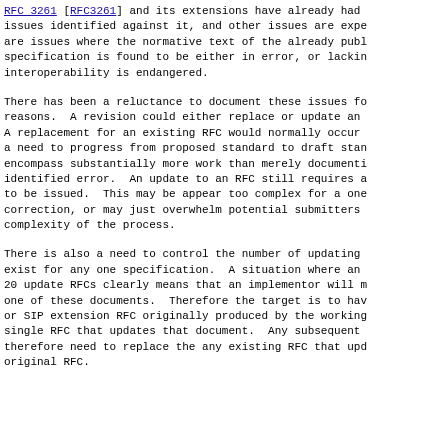RFC 3261 [RFC3261] and its extensions have already had issues identified against it, and other issues are expected. These are issues where the normative text of the already published specification is found to be either in error, or lacking, so that interoperability is endangered.
There has been a reluctance to document these issues for several reasons. A revision could either replace or update an existing RFC. A replacement for an existing RFC would normally occur when there is a need to progress from proposed standard to draft standard, and would encompass substantially more work than merely documenting a single identified error. An update to an RFC still requires a new RFC to be issued. This may be appear too complex for a one line correction, or may just overwhelm potential submitters due to the complexity of the process.
There is also a need to control the number of updating RFCs that exist for any one specification. A situation where an RFC has over 20 update RFCs clearly means that an implementor will miss at least one of these documents. Therefore the target is to have each SIP or SIP extension RFC originally produced by the working group have a single RFC that updates that document. Any subsequent correction will therefore need to replace the any existing RFC that updates the original RFC.